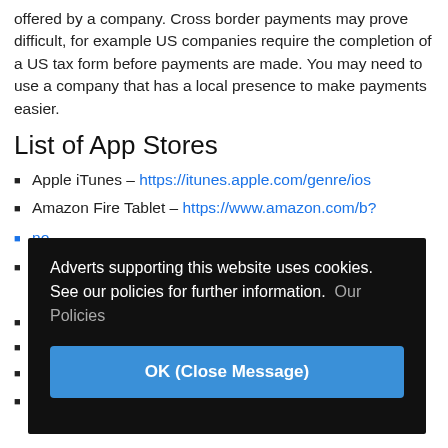offered by a company. Cross border payments may prove difficult, for example US companies require the completion of a US tax form before payments are made. You may need to use a company that has a local presence to make payments easier.
List of App Stores
Apple iTunes – https://itunes.apple.com/genre/ios
Amazon Fire Tablet – https://www.amazon.com/b?...
[Figure (screenshot): Dark overlay popup with cookie/advert notice: 'Adverts supporting this website uses cookies. See our policies for further information. Our Policies' and a blue 'OK (Close Message)' button.]
Samsung Apps – http://www.samsung.com/apps/